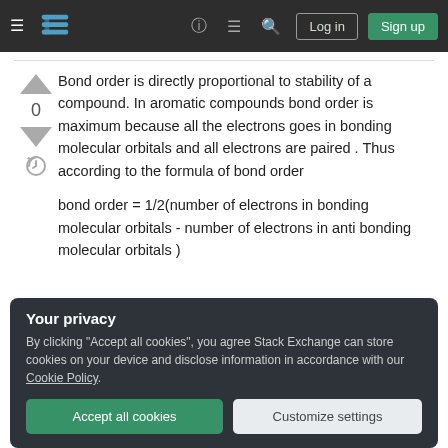Stack Exchange navigation bar with Log in and Sign up buttons
Bond order is directly proportional to stability of a compound. In aromatic compounds bond order is maximum because all the electrons goes in bonding molecular orbitals and all electrons are paired . Thus according to the formula of bond order
bond order = 1/2(number of electrons in bonding molecular orbitals - number of electrons in anti bonding molecular orbitals )
Your privacy
By clicking "Accept all cookies", you agree Stack Exchange can store cookies on your device and disclose information in accordance with our Cookie Policy.
Accept all cookies  Customize settings